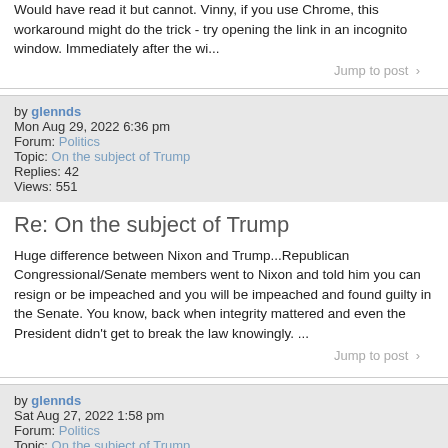Would have read it but cannot. Vinny, if you use Chrome, this workaround might do the trick - try opening the link in an incognito window. Immediately after the wi...
Jump to post >
by glennds
Mon Aug 29, 2022 6:36 pm
Forum: Politics
Topic: On the subject of Trump
Replies: 42
Views: 551
Re: On the subject of Trump
Huge difference between Nixon and Trump...Republican Congressional/Senate members went to Nixon and told him you can resign or be impeached and you will be impeached and found guilty in the Senate. You know, back when integrity mattered and even the President didn't get to break the law knowingly. ...
Jump to post >
by glennds
Sat Aug 27, 2022 1:58 pm
Forum: Politics
Topic: On the subject of Trump
Replies: 42
Views: 551